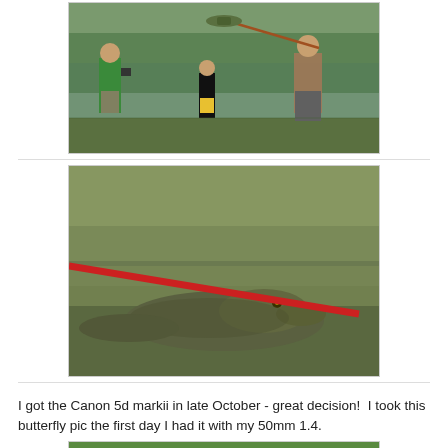[Figure (photo): Outdoor scene near a lake: a boy in a green shirt takes a photo with a camera, a girl in yellow shorts stands in the background, and an older man in a plaid shirt holds up a small alligator on a pole/stick.]
[Figure (photo): Close-up photo of an alligator lying on grass, with a red pole or stick positioned near its head.]
I got the Canon 5d markii in late October - great decision!  I took this butterfly pic the first day I had it with my 50mm 1.4.
[Figure (photo): Partial view of a butterfly photo, showing the top portion with green background.]